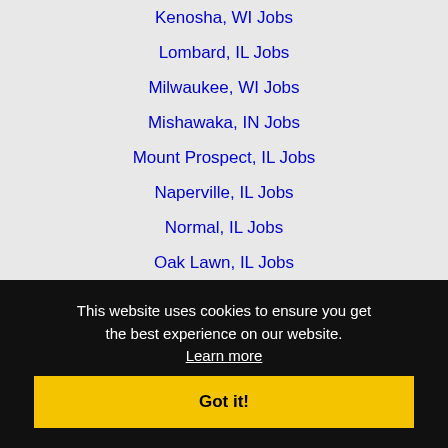Kenosha, WI Jobs
Lombard, IL Jobs
Milwaukee, WI Jobs
Mishawaka, IN Jobs
Mount Prospect, IL Jobs
Naperville, IL Jobs
Normal, IL Jobs
Oak Lawn, IL Jobs
Oak Park, IL Jobs
Orland Park, IL Jobs
Palatine, IL Jobs
Rockford, IL Jobs
Schaumburg, IL Jobs
Skokie, IL Jobs
Tinley Park, IL Jobs
Waukegan, IL Jobs
This website uses cookies to ensure you get the best experience on our website. Learn more
Got it!